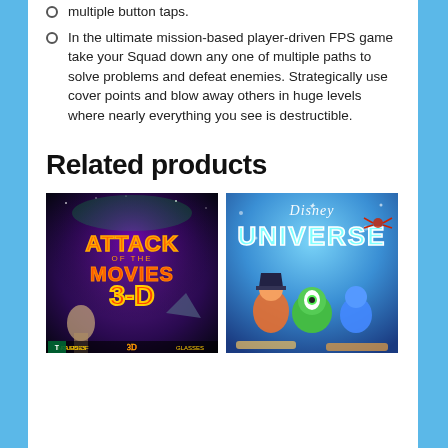multiple button taps.
In the ultimate mission-based player-driven FPS game take your Squad down any one of multiple paths to solve problems and defeat enemies. Strategically use cover points and blow away others in huge levels where nearly everything you see is destructible.
Related products
[Figure (photo): Game cover for Attack of the Movies 3D - dark sci-fi/horror themed game box art with skeleton, shark, and movie monsters, includes 4 pairs of 3D glasses]
[Figure (photo): Game cover for Disney Universe - colorful game box art featuring Disney costumed characters including pirates and Monsters Inc characters against a bright blue background]